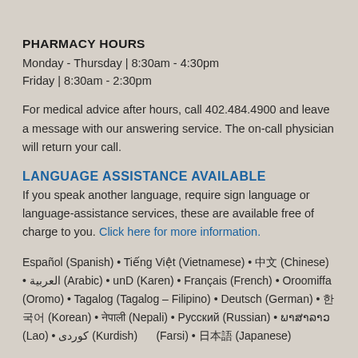PHARMACY HOURS
Monday - Thursday | 8:30am - 4:30pm
Friday | 8:30am - 2:30pm
For medical advice after hours, call 402.484.4900 and leave a message with our answering service. The on-call physician will return your call.
LANGUAGE ASSISTANCE AVAILABLE
If you speak another language, require sign language or language-assistance services, these are available free of charge to you. Click here for more information.
Español (Spanish) • Tiếng Việt (Vietnamese) • 中文 (Chinese) • العربية (Arabic) • unD (Karen) • Français (French) • Oroomiffa (Oromo) • Tagalog (Tagalog – Filipino) • Deutsch (German) • 한국어 (Korean) • नेपाली (Nepali) • Русский (Russian) • ພາສາລາວ (Lao) • کوردی (Kurdish) • ... (Farsi) • 日本語 (Japanese)